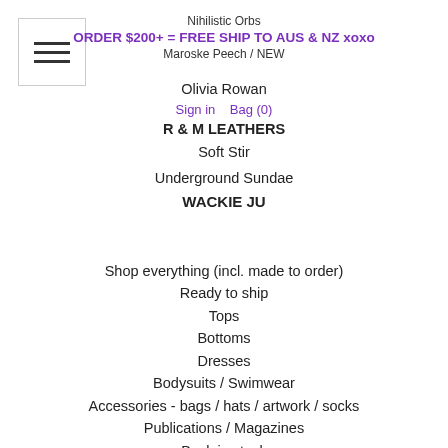Nihilistic Orbs
ORDER $200+ = FREE SHIP TO AUS & NZ xoxo
Maroske Peech / NEW
Olivia Rowan
Sign in   Bag (0)
R & M LEATHERS
Soft Stir
Underground Sundae
WACKIE JU
Shop everything (incl. made to order)
Ready to ship
Tops
Bottoms
Dresses
Bodysuits / Swimwear
Accessories - bags / hats / artwork / socks
Publications / Magazines
Back in stock
Only 1 left. Don't miss out.
Sale
Gift Card
Under $100
$100 - 200
$200 - 300
$300 - 400